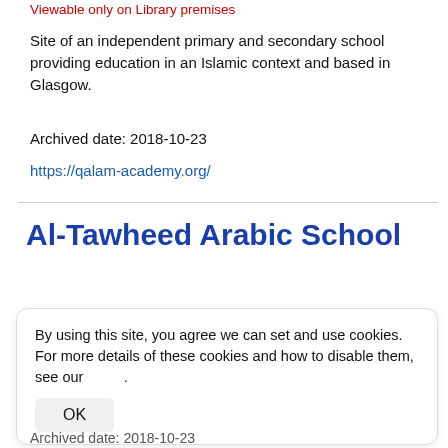Viewable only on Library premises
Site of an independent primary and secondary school providing education in an Islamic context and based in Glasgow.
Archived date: 2018-10-23
https://qalam-academy.org/
Al-Tawheed Arabic School
By using this site, you agree we can set and use cookies. For more details of these cookies and how to disable them, see our .
OK
Archived date: 2018-10-23